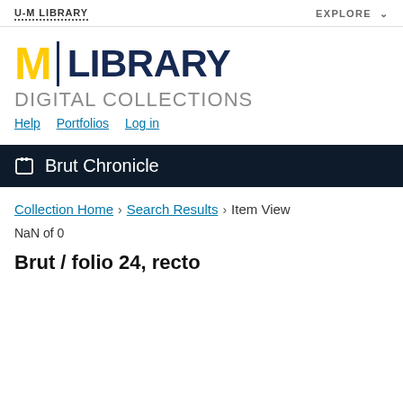U-M LIBRARY    EXPLORE
[Figure (logo): University of Michigan Library Digital Collections logo with yellow M, vertical divider, and dark blue LIBRARY text, followed by DIGITAL COLLECTIONS subtitle and Help, Portfolios, Log in links]
Brut Chronicle
Collection Home > Search Results > Item View
NaN of 0
Brut / folio 24, recto